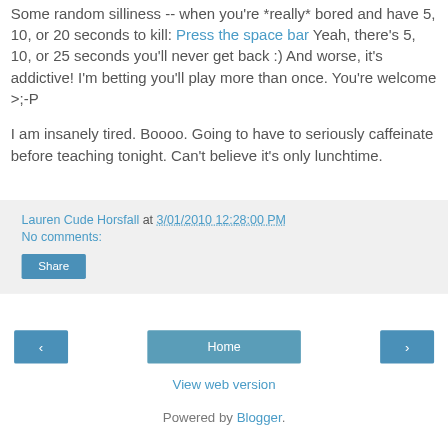Some random silliness -- when you're *really* bored and have 5, 10, or 20 seconds to kill: Press the space bar Yeah, there's 5, 10, or 25 seconds you'll never get back :) And worse, it's addictive! I'm betting you'll play more than once. You're welcome >;-P
I am insanely tired. Boooo. Going to have to seriously caffeinate before teaching tonight. Can't believe it's only lunchtime.
Lauren Cude Horsfall at 3/01/2010 12:28:00 PM
No comments:
Share
‹
Home
›
View web version
Powered by Blogger.